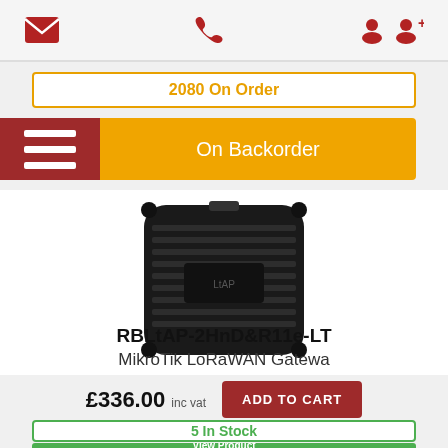Navigation bar with email, phone, user account icons
2080 On Order
On Backorder
[Figure (photo): MikroTik RBLtAP-2HnD&R11e-LT device — black ribbed square hardware unit with rounded corners, top view]
RBLtAP-2HnD&R11e-LT
MikroTik LoRaWAN Gatewa
£336.00 inc vat
ADD TO CART
5 In Stock
View Product